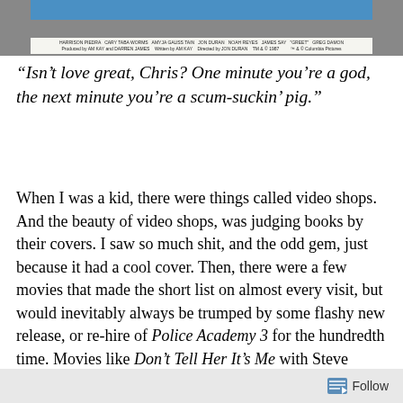[Figure (other): Top portion of a movie poster or VHS cover with a blue graphic bar and small credits text below it]
“Isn’t love great, Chris? One minute you’re a god, the next minute you’re a scum-suckin’ pig.”
When I was a kid, there were things called video shops. And the beauty of video shops, was judging books by their covers. I saw so much shit, and the odd gem, just because it had a cool cover. Then, there were a few movies that made the short list on almost every visit, but would inevitably always be trumped by some flashy new release, or re-hire of Police Academy 3 for the hundredth time. Movies like Don’t Tell Her It’s Me with Steve Guttenberg, and Ghoulies II, the one with little Gremlins rip offs coming up out of a toilet on the cover.
Follow